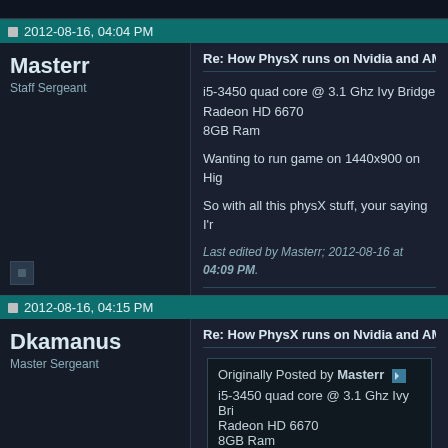2012-08-16, 04:04 PM
Masterr
Staff Sergeant
Re: How PhysX runs on Nvidia and AMD (ATI) s

i5-3450 quad core @ 3.1 Ghz Ivy Bridge
Radeon HD 6670
8GB Ram

Wanting to run game on 1440x900 on Hig

So with all this physX stuff, your saying I'r

Last edited by Masterr; 2012-08-16 at 04:09 PM.
2012-08-16, 04:15 PM
Dkamanus
Master Sergeant
Re: How PhysX runs on Nvidia and AMD (ATI) s

Originally Posted by Masterr
i5-3450 quad core @ 3.1 Ghz Ivy Bri...
Radeon HD 6670
8GB Ram